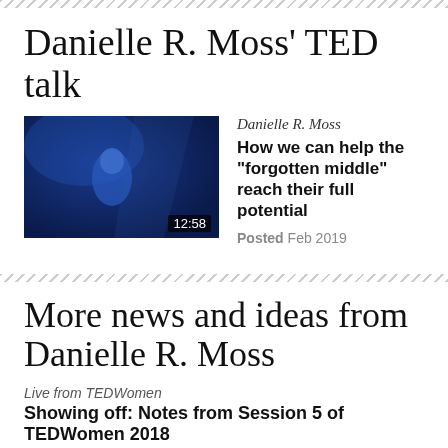Danielle R. Moss’ TED talk
[Figure (screenshot): Thumbnail image of Danielle R. Moss TED talk video with duration 12:58 shown in bottom right corner. Dark blue background with speaker visible.]
Danielle R. Moss
How we can help the "forgotten middle" reach their full potential
Posted Feb 2019
More news and ideas from Danielle R. Moss
Live from TEDWomen
Showing off: Notes from Session 5 of TEDWomen 2018
November 30, 2018
The term “showing off” gets a bad rap. But for Session 5 of TEDWomen 2018, a lineup of speakers and…